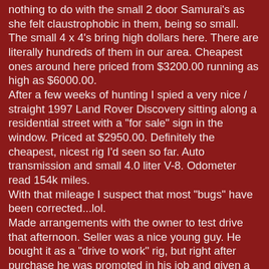nothing to do with the small 2 door Samurai's as she felt claustrophobic in them, being so small. The small 4 x 4's bring high dollars here. There are literally hundreds of them in our area. Cheapest ones around here priced from $3200.00 running as high as $6000.00. After a few weeks of hunting I spied a very nice / straight 1997 Land Rover Discovery sitting along a residential street with a "for sale" sign in the window. Priced at $2950.00. Definitely the cheapest, nicest rig I'd seen so far. Auto transmission and small 4.0 liter V-8. Odometer read 154k miles. With that mileage I suspect that most "bugs" have been corrected...lol. Made arrangements with the owner to test drive that afternoon. Seller was a nice young guy. He bought it as a "drive to work" rig, but right after purchase he was promoted in his job and given a company vehicle. I noticed that the rear sunroof was partially open in the "vent" position. Found it would not close and glass was sitting very crooked in the mechanism, not good. The owner was not able to get it to close and just left it open as it sat in his garage all the time. He pointed out known problems to me and seemed a bit